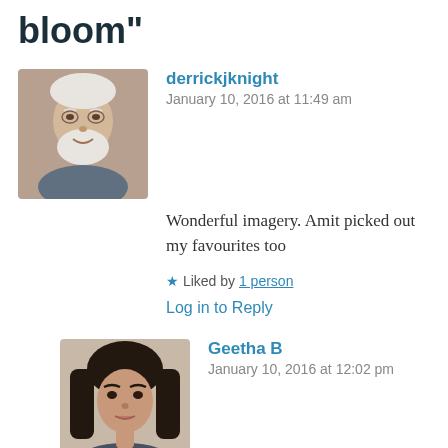bloom”
[Figure (photo): Avatar photo of derrickjknight - older man with white hair and beard]
derrickjknight
January 10, 2016 at 11:49 am
Wonderful imagery. Amit picked out my favourites too
★ Liked by 1 person
Log in to Reply
[Figure (photo): Avatar photo of Geetha B - young woman with dark hair]
Geetha B
January 10, 2016 at 12:02 pm
Thank you Derrick. I loved the flowers on your page and the choice of 2 cellos is perfect. They